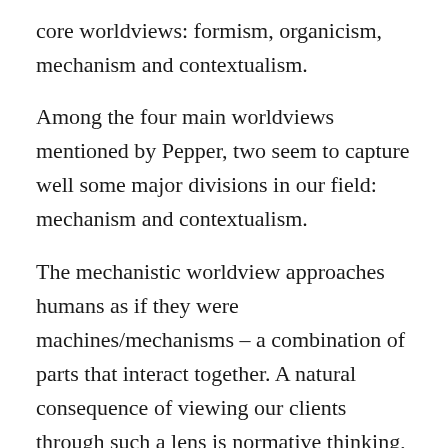core worldviews: formism, organicism, mechanism and contextualism.
Among the four main worldviews mentioned by Pepper, two seem to capture well some major divisions in our field: mechanism and contextualism.
The mechanistic worldview approaches humans as if they were machines/mechanisms – a combination of parts that interact together. A natural consequence of viewing our clients through such a lens is normative thinking, because only by having norms we're able to say whether a certain machine works properly or is broken, whether the machine needs to be fixed